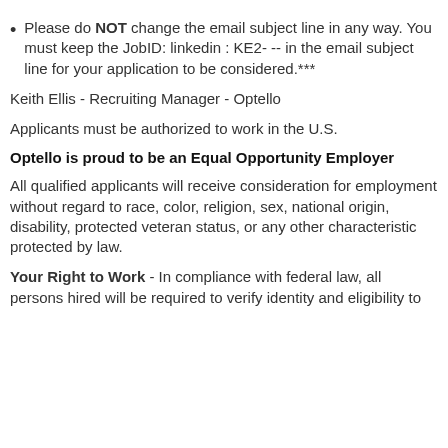Please do NOT change the email subject line in any way. You must keep the JobID: linkedin : KE2- -- in the email subject line for your application to be considered.***
Keith Ellis - Recruiting Manager - Optello
Applicants must be authorized to work in the U.S.
Optello is proud to be an Equal Opportunity Employer
All qualified applicants will receive consideration for employment without regard to race, color, religion, sex, national origin, disability, protected veteran status, or any other characteristic protected by law.
Your Right to Work - In compliance with federal law, all persons hired will be required to verify identity and eligibility to